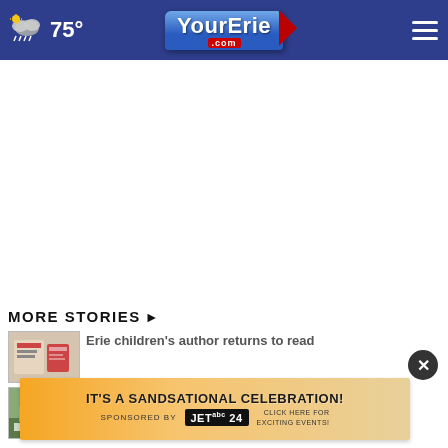YourErie.com — 75°
[Figure (screenshot): White advertisement area placeholder]
MORE STORIES ▶
Erie children's author returns to read
[Figure (photo): Small thumbnail image of a children's book event]
Davis makes stop at Penn State to
[Figure (screenshot): Advertisement banner: IT'S A SANDSATIONAL CELEBRATION! Sponsored by JET 24 abc]
[Figure (other): Close button (X) overlay]